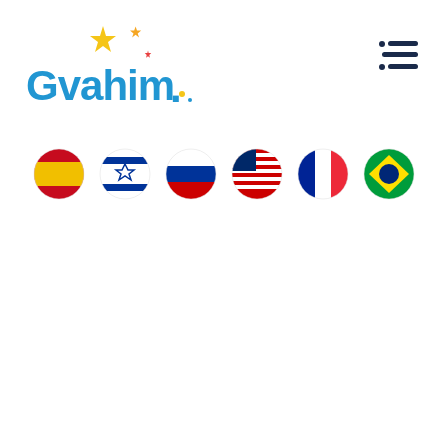[Figure (logo): Gvahim logo with blue text and colorful stars (yellow, orange, red)]
[Figure (other): Hamburger menu icon (three horizontal lines with dots) in dark navy color]
[Figure (other): Row of six circular flag icons: Spain, Israel, Russia, USA, France, Brazil]